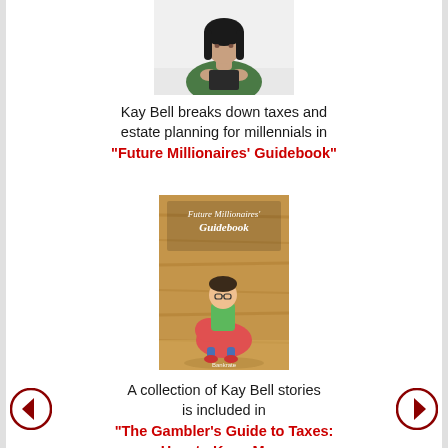[Figure (photo): Photo of a woman with dark hair in a green top sitting at a desk, looking down]
Kay Bell breaks down taxes and estate planning for millennials in "Future Millionaires' Guidebook"
[Figure (photo): Book cover of 'Future Millionaires' Guidebook' showing a cartoon young man sitting on a piggy bank against a wood-paneled background, published by Bankrate]
A collection of Kay Bell stories is included in "The Gambler's Guide to Taxes: How to Keep More of What You Win"